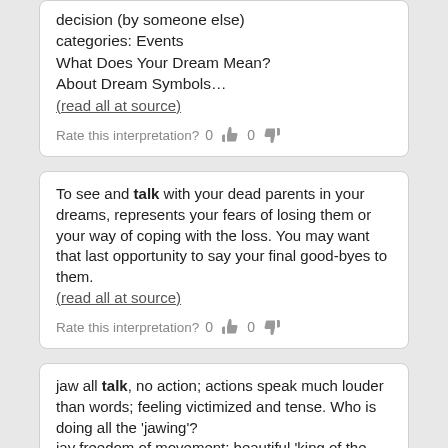decision (by someone else) categories: Events What Does Your Dream Mean? About Dream Symbols… (read all at source)
Rate this interpretation? 0 👍 0 👎
To see and talk with your dead parents in your dreams, represents your fears of losing them or your way of coping with the loss. You may want that last opportunity to say your final good-byes to them. (read all at source)
Rate this interpretation? 0 👍 0 👎
jaw all talk, no action; actions speak much louder than words; feeling victimized and tense. Who is doing all the 'jawing'? jay freedom of movement; beautiful 'king of the hill'; making an awful